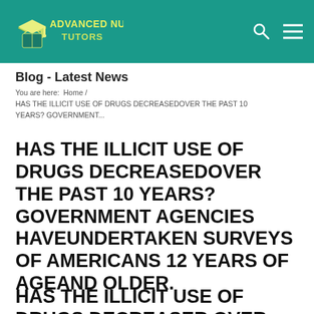[Figure (logo): Advanced Nursing Tutors logo with graduation cap icon on teal background header bar]
Blog - Latest News
You are here:  Home  /  HAS THE ILLICIT USE OF DRUGS DECREASEDOVER THE PAST 10 YEARS? GOVERNMENT...
HAS THE ILLICIT USE OF DRUGS DECREASEDOVER THE PAST 10 YEARS? GOVERNMENT AGENCIES HAVEUNDERTAKEN SURVEYS OF AMERICANS 12 YEARS OF AGEAND OLDER.
HAS THE ILLICIT USE OF DRUGS DECREASER OVER THE PAST 10 YEARS?